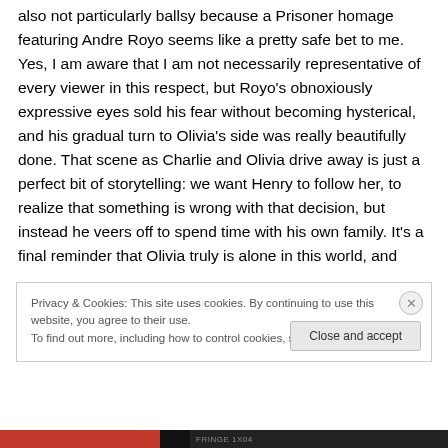also not particularly ballsy because a Prisoner homage featuring Andre Royo seems like a pretty safe bet to me. Yes, I am aware that I am not necessarily representative of every viewer in this respect, but Royo's obnoxiously expressive eyes sold his fear without becoming hysterical, and his gradual turn to Olivia's side was really beautifully done. That scene as Charlie and Olivia drive away is just a perfect bit of storytelling: we want Henry to follow her, to realize that something is wrong with that decision, but instead he veers off to spend time with his own family. It's a final reminder that Olivia truly is alone in this world, and
Privacy & Cookies: This site uses cookies. By continuing to use this website, you agree to their use.
To find out more, including how to control cookies, see here: Cookie Policy
Close and accept